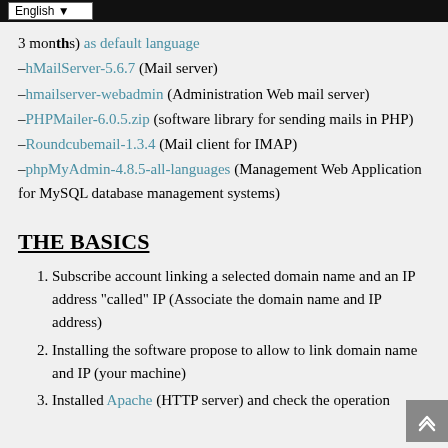English
3 months) as default language
–hMailServer-5.6.7 (Mail server)
–hmailserver-webadmin (Administration Web mail server)
–PHPMailer-6.0.5.zip (software library for sending mails in PHP)
–Roundcubemail-1.3.4 (Mail client for IMAP)
–phpMyAdmin-4.8.5-all-languages (Management Web Application for MySQL database management systems)
THE BASICS
1. Subscribe account linking a selected domain name and an IP address “called” IP (Associate the domain name and IP address)
2. Installing the software propose to allow to link domain name and IP (your machine)
3. Installed Apache (HTTP server) and check the operation